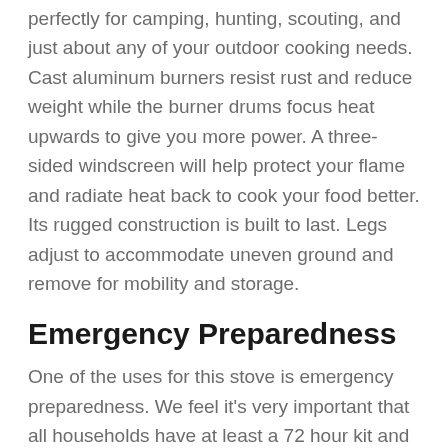perfectly for camping, hunting, scouting, and just about any of your outdoor cooking needs. Cast aluminum burners resist rust and reduce weight while the burner drums focus heat upwards to give you more power. A three-sided windscreen will help protect your flame and radiate heat back to cook your food better. Its rugged construction is built to last. Legs adjust to accommodate uneven ground and remove for mobility and storage.
Emergency Preparedness
One of the uses for this stove is emergency preparedness. We feel it's very important that all households have at least a 72 hour kit and some food storage. One 20 lb tank (not included) can get you 15 hours of cooking time. If disaster strikes, you'll be ready.
Features